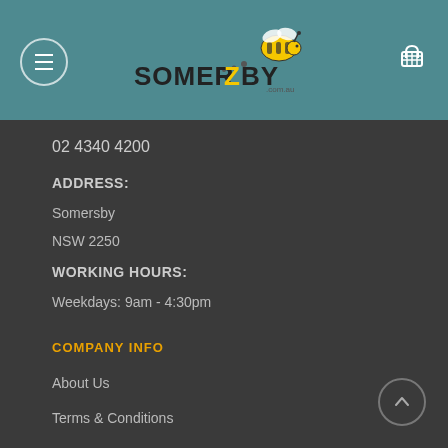Somerzby.com.au — Navigation header with logo, menu button, and cart
02 4340 4200
ADDRESS:
Somersby
NSW 2250
WORKING HOURS:
Weekdays: 9am - 4:30pm
COMPANY INFO
About Us
Terms & Conditions